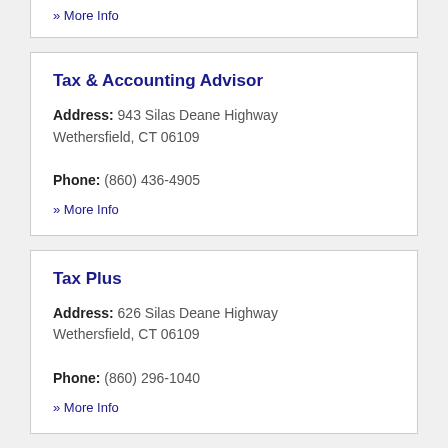» More Info
Tax & Accounting Advisor
Address: 943 Silas Deane Highway Wethersfield, CT 06109
Phone: (860) 436-4905
» More Info
Tax Plus
Address: 626 Silas Deane Highway Wethersfield, CT 06109
Phone: (860) 296-1040
» More Info